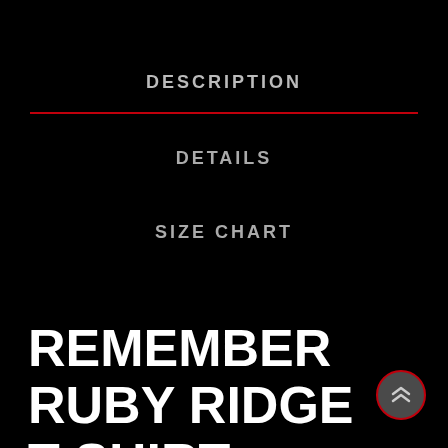DESCRIPTION
DETAILS
SIZE CHART
REMEMBER RUBY RIDGE T-SHIRT